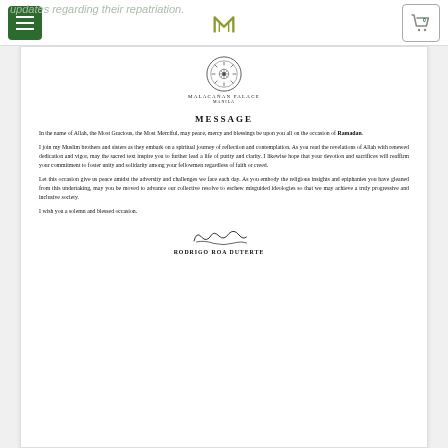updates regarding their repatriation.
Malacanang Palace website header with menu, logo, and cart
[Figure (logo): Philippine government seal / Malacañan Palace official seal]
MALACAÑAN PALACE
MANILA
MESSAGE
In the name of Allah, the Most Gracious, the Most Merciful, may peace, mercy and blessings be upon you all on the occasion of Ramadan.
I join my Muslim brothers and sisters as they embark on a spiritual journey of reflection and contemplation. As you read the revelations of Allah with renewed dedication and vigor, may the sacred text inspire you to further lead a life of purity and clarity. I likewise hope that your devotion and sacrifices will reaffirm your commitment to foster unity and solidarity among your fellowmen regardless of faith or creed.
Let this occasion give us peace amidst the adversity and challenges we face each day. As you embody the religious insights and epiphanies you have gleaned from this undertaking, may you be moved to advance our collective resolve to eschew misguided ideologies so that we may achieve a truly progressive and inclusive society.
I wish you a solemn and blessed occasion.
[Figure (illustration): Signature of Rodrigo Roa Duterte]
RODRIGO ROA DUTERTE